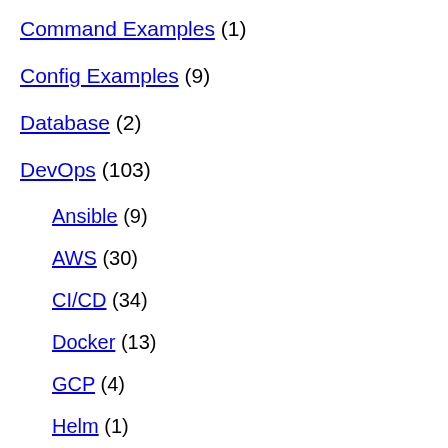Command Examples (1)
Config Examples (9)
Database (2)
DevOps (103)
Ansible (9)
AWS (30)
CI/CD (34)
Docker (13)
GCP (4)
Helm (1)
Kubernetes (13)
Terraform (7)